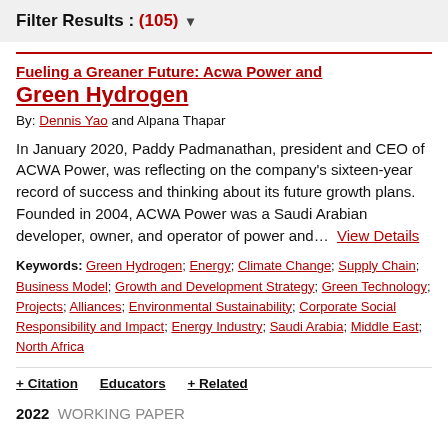Filter Results : (105) ▼
Fueling a Greaner Future: Acwa Power and Green Hydrogen
By: Dennis Yao and Alpana Thapar
In January 2020, Paddy Padmanathan, president and CEO of ACWA Power, was reflecting on the company's sixteen-year record of success and thinking about its future growth plans. Founded in 2004, ACWA Power was a Saudi Arabian developer, owner, and operator of power and...  View Details
Keywords: Green Hydrogen; Energy; Climate Change; Supply Chain; Business Model; Growth and Development Strategy; Green Technology; Projects; Alliances; Environmental Sustainability; Corporate Social Responsibility and Impact; Energy Industry; Saudi Arabia; Middle East; North Africa
+ Citation   Educators   + Related
2022  WORKING PAPER